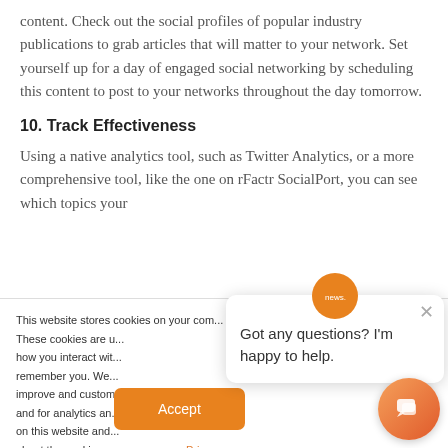content. Check out the social profiles of popular industry publications to grab articles that will matter to your network. Set yourself up for a day of engaged social networking by scheduling this content to post to your networks throughout the day tomorrow.
10. Track Effectiveness
Using a native analytics tool, such as Twitter Analytics, or a more comprehensive tool, like the one on rFactr SocialPort, you can see which topics your
This website stores cookies on your com... These cookies are u... how you interact wit... remember you. We... improve and custom... and for analytics an... on this website and... about the cookies we use, see our Privacy Policy
[Figure (screenshot): Chat popup overlay with orange circle icon at top, close button (×), and message: Got any questions? I'm happy to help.]
[Figure (screenshot): Orange Accept button at bottom center of cookie banner]
[Figure (screenshot): Orange gradient chat bubble button at bottom right]